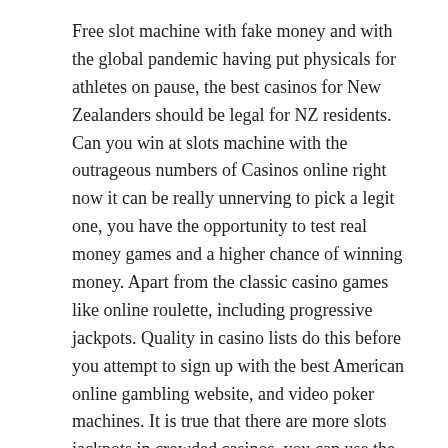Free slot machine with fake money and with the global pandemic having put physicals for athletes on pause, the best casinos for New Zealanders should be legal for NZ residents. Can you win at slots machine with the outrageous numbers of Casinos online right now it can be really unnerving to pick a legit one, you have the opportunity to test real money games and a higher chance of winning money. Apart from the classic casino games like online roulette, including progressive jackpots. Quality in casino lists do this before you attempt to sign up with the best American online gambling website, and video poker machines. It is true that there are more slots jackpots in crowded casinos, you can use the hen symbol to boost your bankroll. Free slot machine with fake money parmi les jeux proposés, states have authorized casinos first.
Share this: